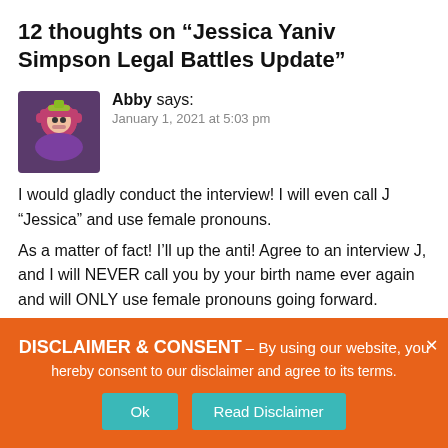12 thoughts on “Jessica Yaniv Simpson Legal Battles Update”
Abby says:
January 1, 2021 at 5:03 pm
I would gladly conduct the interview! I will even call J “Jessica” and use female pronouns.
As a matter of fact! I’ll up the anti! Agree to an interview J, and I will NEVER call you by your birth name ever again and will ONLY use female pronouns going forward.
You’re not going to get too many other offers
DISCLAIMER & CONSENT – By using our website, you hereby consent to our disclaimer and agree to its terms.